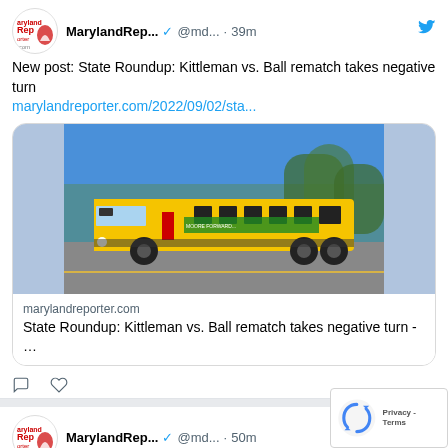[Figure (screenshot): Twitter/social media feed screenshot showing two tweets from MarylandRep... (@md...) account. First tweet: 'New post: State Roundup: Kittleman vs. Ball rematch takes negative turn' with link marylandreporter.com/2022/09/02/sta... and a link card showing a yellow school bus photo. Second tweet: 'New post: Kittleman vs. Ball rematch takes negative turn' posted 50m ago. reCAPTCHA badge visible in bottom right.]